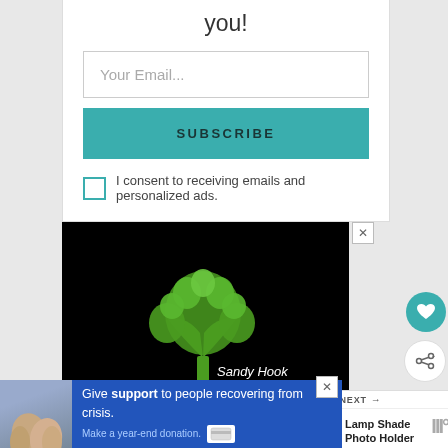you!
[Figure (screenshot): Email input field with placeholder text 'Your Email...']
[Figure (screenshot): Teal SUBSCRIBE button]
I consent to receiving emails and personalized ads.
[Figure (logo): Sandy Hook Promise advertisement on black background with tree logo made of green handprints, text 'Sandy Hook PROMISE' and URL 'SandyHookPromise.org']
[Figure (screenshot): WHAT'S NEXT panel with thumbnail and title 'Lamp Shade Photo Holder']
[Figure (screenshot): Bottom banner ad: 'Give support to people recovering from crisis. Make a year-end donation.' with photo of hands and credit card icon]